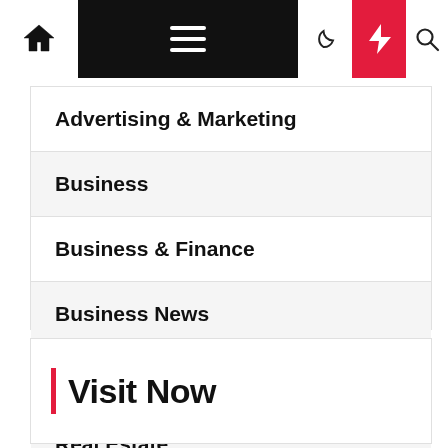Navigation bar with home icon, hamburger menu, moon icon, bolt/flash icon, and search icon
Advertising & Marketing
Business
Business & Finance
Business News
Finance & Oportunity
Real Estate
SEO Marketing
Visit Now